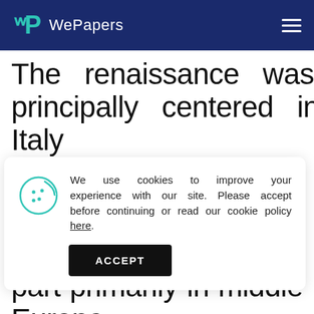WePapers
The renaissance was principally centered in Italy
We use cookies to improve your experience with our site. Please accept before continuing or read our cookie policy here.
The 30 years war took part primarily in middle Europe